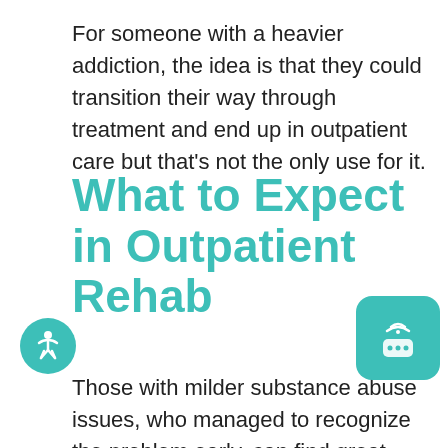For someone with a heavier addiction, the idea is that they could transition their way through treatment and end up in outpatient care but that's not the only use for it.
What to Expect in Outpatient Rehab
Those with milder substance abuse issues, who managed to recognize the problem early, can find great success and value in an outpatient program.
As mentioned, you can expect the same of treatment in an outpatient setting – individualized and group work with an